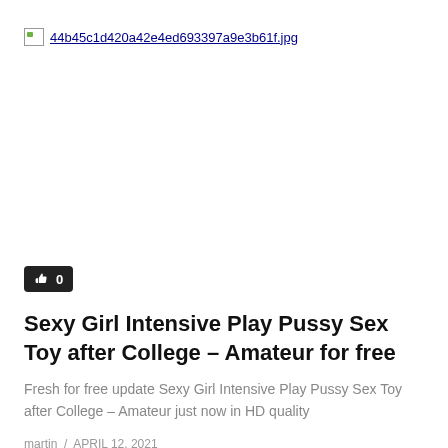[Figure (other): Broken image placeholder with filename 44b45c1d420a42e4ed693397a9e3b61f.jpg shown as link text]
[Figure (other): Like/thumbs-up button showing count 0 on dark background]
Sexy Girl Intensive Play Pussy Sex Toy after College – Amateur for free
Fresh for free update Sexy Girl Intensive Play Pussy Sex Toy after College – Amateur just now in HD quality
martin / APRIL 12, 2021
0